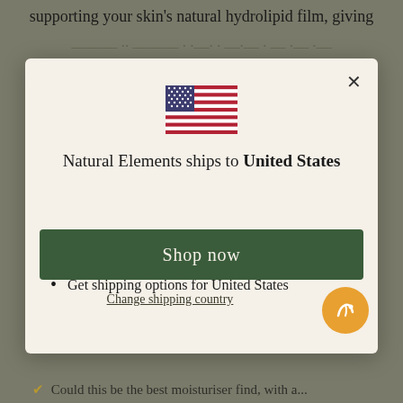supporting your skin's natural hydrolipid film, giving
[Figure (screenshot): Modal dialog popup showing US flag, shipping destination message, list items, and Shop now button]
Natural Elements ships to United States
Shop in USD $
Get shipping options for United States
Shop now
Change shipping country
Could this be the best moisturiser find, with a...